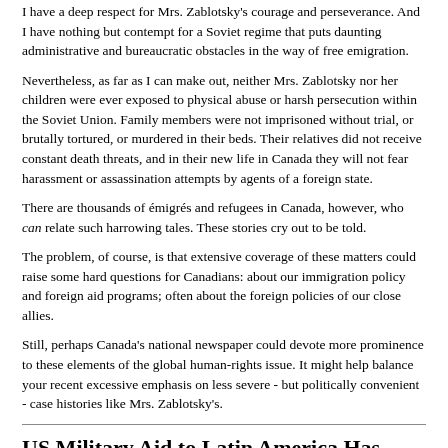I have a deep respect for Mrs. Zablotsky's courage and perseverance. And I have nothing but contempt for a Soviet regime that puts daunting administrative and bureaucratic obstacles in the way of free emigration.
Nevertheless, as far as I can make out, neither Mrs. Zablotsky nor her children were ever exposed to physical abuse or harsh persecution within the Soviet Union. Family members were not imprisoned without trial, or brutally tortured, or murdered in their beds. Their relatives did not receive constant death threats, and in their new life in Canada they will not fear harassment or assassination attempts by agents of a foreign state.
There are thousands of émigrés and refugees in Canada, however, who can relate such harrowing tales. These stories cry out to be told.
The problem, of course, is that extensive coverage of these matters could raise some hard questions for Canadians: about our immigration policy and foreign aid programs; often about the foreign policies of our close allies.
Still, perhaps Canada's national newspaper could devote more prominence to these elements of the global human-rights issue. It might help balance your recent excessive emphasis on less severe - but politically convenient - case histories like Mrs. Zablotsky's.
US Military Aid to Latin America Has Accomplished Its Task - Unfortunately
[The Christian Science Monitor (World Edition), 11-17 July 1988.]